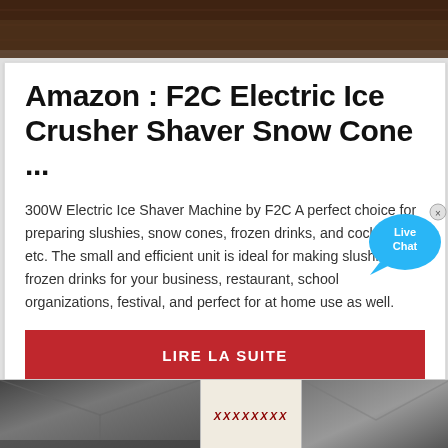[Figure (photo): Dark brown textured background image at the top of the page, partially cropped]
Amazon : F2C Electric Ice Crusher Shaver Snow Cone ...
300W Electric Ice Shaver Machine by F2C A perfect choice for preparing slushies, snow cones, frozen drinks, and cocktails etc. The small and efficient unit is ideal for making slushies and frozen drinks for your business, restaurant, school organizations, festival, and perfect for at home use as well.
[Figure (illustration): Live Chat speech bubble button in blue]
LIRE LA SUITE
[Figure (photo): Three partial images at the bottom: an industrial/warehouse interior on the left, a light-colored item with red text in the middle, and a dark warehouse on the right]